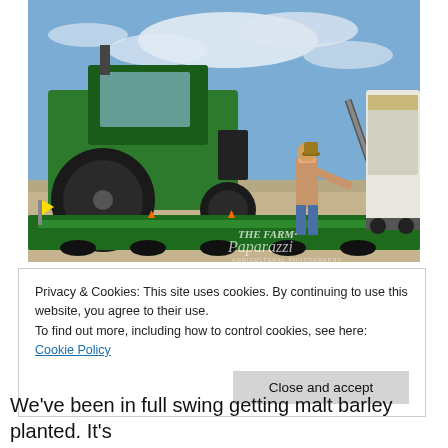[Figure (photo): A farmer standing on a Great Plains grain drill seeder attached to a green John Deere tractor, loading seed from a white trailer truck in an open flat field under a blue sky. The equipment shows 'Great Plains' branding. A watermark reads 'THE FARM Paparazzi' in the lower right corner.]
Privacy & Cookies: This site uses cookies. By continuing to use this website, you agree to their use.
To find out more, including how to control cookies, see here: Cookie Policy
Close and accept
We've been in full swing getting malt barley planted. It's